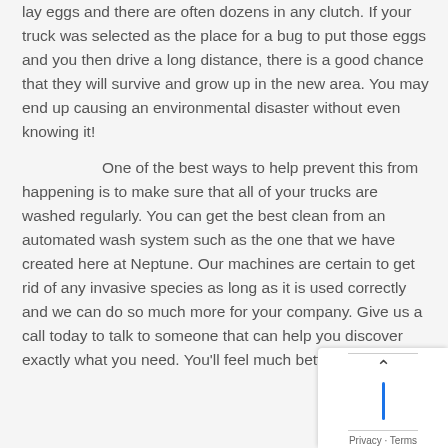lay eggs and there are often dozens in any clutch. If your truck was selected as the place for a bug to put those eggs and you then drive a long distance, there is a good chance that they will survive and grow up in the new area. You may end up causing an environmental disaster without even knowing it!
One of the best ways to help prevent this from happening is to make sure that all of your trucks are washed regularly. You can get the best clean from an automated wash system such as the one that we have created here at Neptune. Our machines are certain to get rid of any invasive species as long as it is used correctly and we can do so much more for your company. Give us a call today to talk to someone that can help you discover exactly what you need. You'll feel much better about your